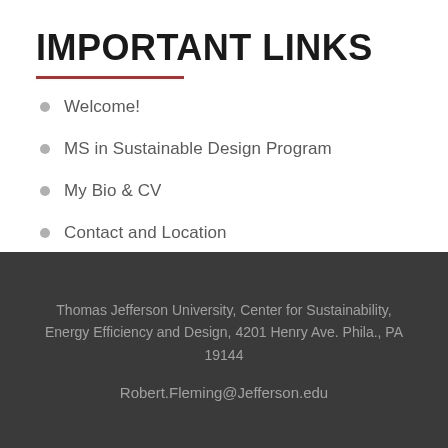IMPORTANT LINKS
Welcome!
MS in Sustainable Design Program
My Bio & CV
Contact and Location
Thomas Jefferson University, Center for Sustainability, Energy Efficiency and Design, 4201 Henry Ave. Phila., PA 19144
Robert.Fleming@Jefferson.edu